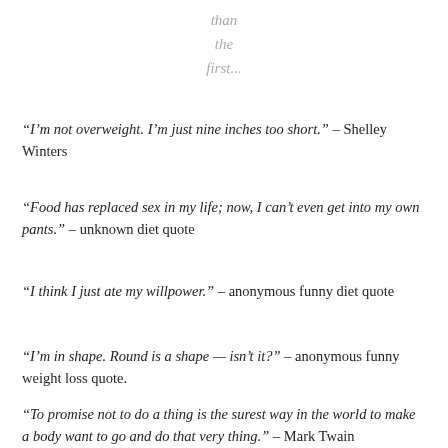than
the
first...
“I’m not overweight. I’m just nine inches too short.” – Shelley Winters
“Food has replaced sex in my life; now, I can’t even get into my own pants.” – unknown diet quote
“I think I just ate my willpower.” – anonymous funny diet quote
“I’m in shape. Round is a shape — isn’t it?” – anonymous funny weight loss quote.
“To promise not to do a thing is the surest way in the world to make a body want to go and do that very thing.” – Mark Twain